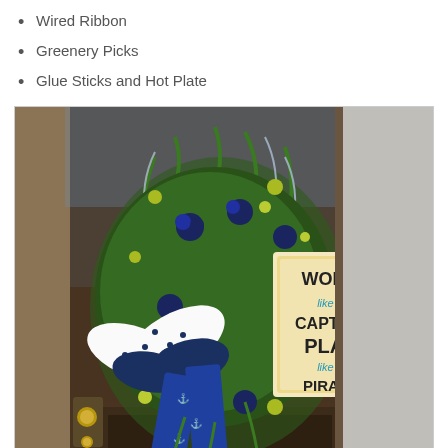Wired Ribbon
Greenery Picks
Glue Sticks and Hot Plate
[Figure (photo): A decorative nautical-themed door wreath made with navy blue roses, greenery, polka-dot and anchor-print wired ribbons, and a sign reading 'Work like a Captain Play like a Pirate', hanging on a dark front door.]